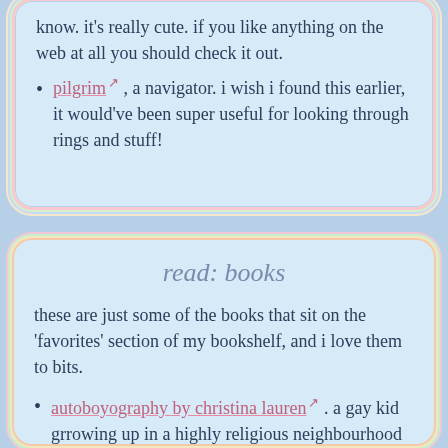pilgrim ↗ , a navigator. i wish i found this earlier, it would've been super useful for looking through rings and stuff!
read: books
these are just some of the books that sit on the 'favorites' section of my bookshelf, and i love them to bits.
autoboyography by christina lauren ↗ . a gay kid grrowing up in a highly religious neighbourhood with loving parents and then he falls in love with the son of the bishop. it's that kind of book you devour within a day and leave reeling for weeks.
word by word by kory stamper ↗ . kory